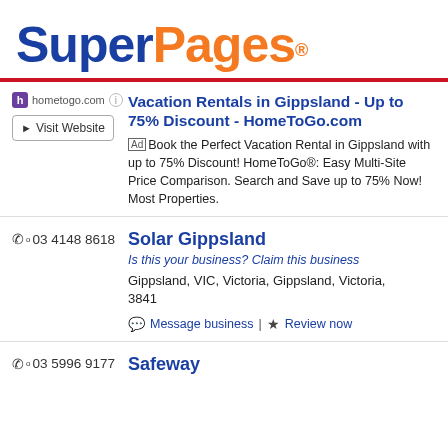[Figure (logo): SuperPages logo with 'Super' in dark blue and 'Pages' in orange, bold large text]
hometogo.com [i]
► Visit Website
Vacation Rentals in Gippsland - Up to 75% Discount - HomeToGo.com
Ad Book the Perfect Vacation Rental in Gippsland with up to 75% Discount! HomeToGo®: Easy Multi-Site Price Comparison. Search and Save up to 75% Now! Most Properties.
☎ 03 4148 8618
Solar Gippsland
Is this your business? Claim this business
Gippsland, VIC, Victoria, Gippsland, Victoria, 3841
💬 Message business | ★ Review now
☎ 03 5996 9177
Safeway